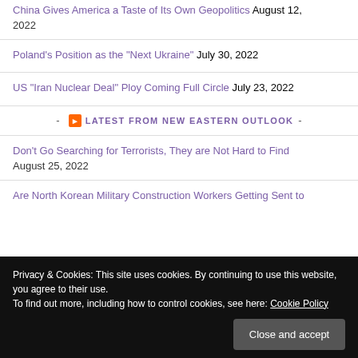China Gives America a Taste of Its Own Geopolitics August 12, 2022
Poland's Position as the "Next Ukraine" July 30, 2022
US "Iran Nuclear Deal" Ploy Coming Full Circle July 23, 2022
- LATEST FROM NEW EASTERN OUTLOOK -
Don't Go Searching for Terrorists, They are Not Hard to Find August 25, 2022
Are North Korean Military Construction Workers Getting Sent to
Privacy & Cookies: This site uses cookies. By continuing to use this website, you agree to their use. To find out more, including how to control cookies, see here: Cookie Policy